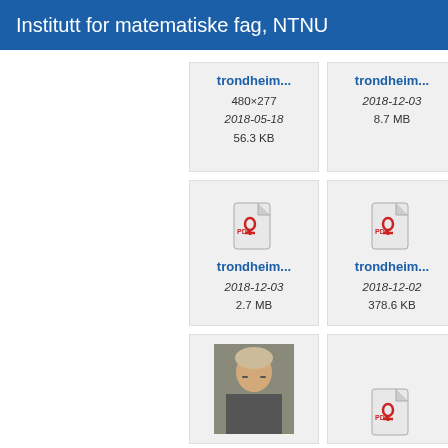Institutt for matematiske fag, NTNU
[Figure (screenshot): File thumbnail card: trondheim... 480×277, 2018-05-18, 56.3 KB]
[Figure (screenshot): File thumbnail card: trondheim... 2018-12-03, 8.7 MB]
[Figure (screenshot): PDF file card: trondheim... 2018-12-03, 2.7 MB]
[Figure (screenshot): PDF file card: trondheim... 2018-12-02, 378.6 KB]
[Figure (screenshot): Photo card: person photo (blonde woman with glasses)]
[Figure (screenshot): PDF file card (bottom right, partial)]